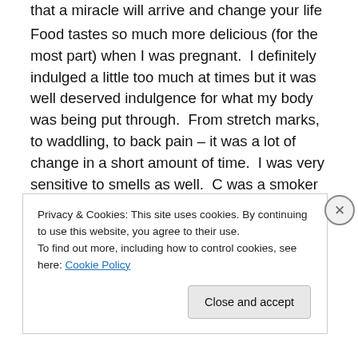that a miracle will arrive and change your life forever.
Food tastes so much more delicious (for the most part) when I was pregnant.  I definitely indulged a little too much at times but it was well deserved indulgence for what my body was being put through.  From stretch marks, to waddling, to back pain – it was a lot of change in a short amount of time.  I was very sensitive to smells as well.  C was a smoker during the first half of my pregnancy and I would tell him how much he wreaked and he didn't notice until he quit.  Then he totally noticed!  I was so thankful that he quit because I don't think I could have
Privacy & Cookies: This site uses cookies. By continuing to use this website, you agree to their use.
To find out more, including how to control cookies, see here: Cookie Policy
Close and accept